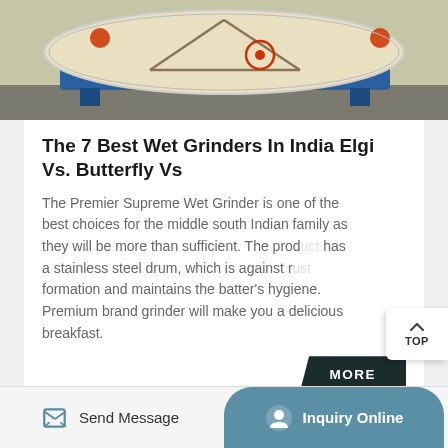[Figure (photo): Industrial wet grinder machine with triangular frame structure on blue base, viewed from the side in a workshop setting]
The 7 Best Wet Grinders In India Elgi Vs. Butterfly Vs
The Premier Supreme Wet Grinder is one of the best choices for the middle south Indian family as they will be more than sufficient. The product has a stainless steel drum, which is against rust formation and maintains the batter's hygiene. Premium brand grinder will make you a delicious breakfast.
[Figure (photo): Industrial pipes and machinery in a factory setting, partially visible at the bottom of the page]